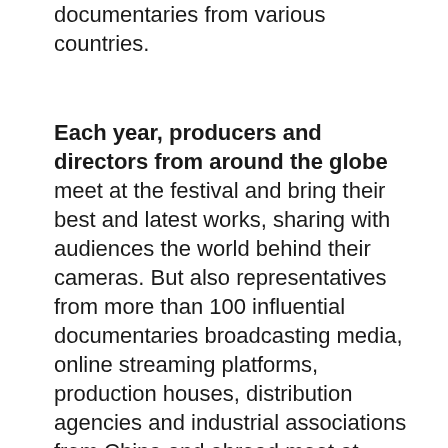documentaries from various countries.
Each year, producers and directors from around the globe meet at the festival and bring their best and latest works, sharing with audiences the world behind their cameras. But also representatives from more than 100 influential documentaries broadcasting media, online streaming platforms, production houses, distribution agencies and industrial associations from China and abroad meet at GZDOC. Several thousand industry executives, decision makers, producers, content buyers, as well as award-winning directors, attend and